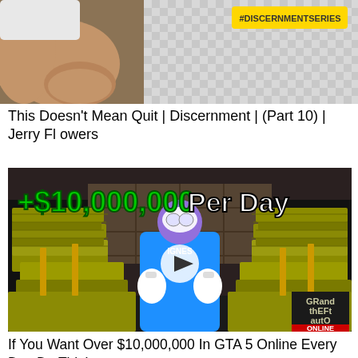[Figure (screenshot): Top portion of a YouTube video thumbnail showing a person with hands clasped, with a yellow label '#DISCERNMENTSERIES' in the upper right area, gray checkered background]
This Doesn't Mean Quit | Discernment | (Part 10) | Jerry Flowers
[Figure (screenshot): GTA 5 Online video thumbnail showing a character in a blue varsity jacket surrounded by stacks of cash money, with bright green text '+$10,000,000' and white text 'Per Day', a play button overlay in the center, and the Grand Theft Auto Online logo in the bottom right corner]
If You Want Over $10,000,000 In GTA 5 Online Every Day Do This!